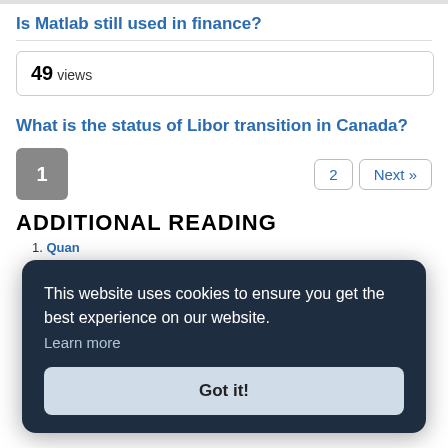Is Matlab still used in finance?
49 views
What is the status of Libor transition in Canada?
Pagination: 1 (current), 2, Next »
ADDITIONAL READING
1. Quantitative Finance and Careers — that work If so quan
2. Quantitative Finance and Insurance Quantitative
This website uses cookies to ensure you get the best experience on our website. Learn more Got it!